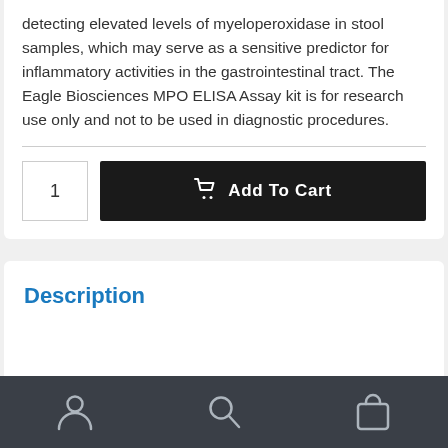detecting elevated levels of myeloperoxidase in stool samples, which may serve as a sensitive predictor for inflammatory activities in the gastrointestinal tract. The Eagle Biosciences MPO ELISA Assay kit is for research use only and not to be used in diagnostic procedures.
Description
Navigation bar with person, search, and cart icons